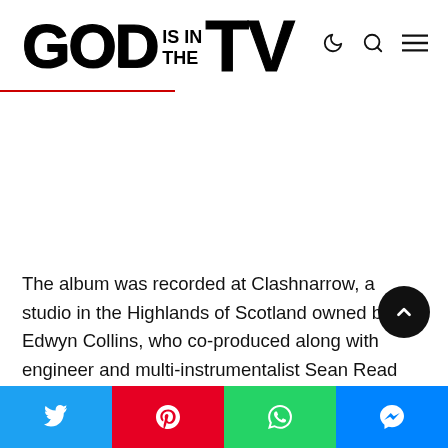GOD IS IN THE TV
The album was recorded at Clashnarrow, a studio in the Highlands of Scotland owned by Edwyn Collins, who co-produced along with engineer and multi-instrumentalist Sean Read (Dexys). Tracyanne describes the album as "Melodic, musical, and murder-y. It's not a duet record. We've tried our best to marry our voices, songs, and